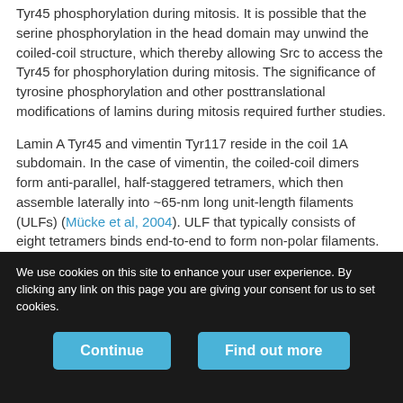Tyr45 phosphorylation during mitosis. It is possible that the serine phosphorylation in the head domain may unwind the coiled-coil structure, which thereby allowing Src to access the Tyr45 for phosphorylation during mitosis. The significance of tyrosine phosphorylation and other posttranslational modifications of lamins during mitosis required further studies.
Lamin A Tyr45 and vimentin Tyr117 reside in the coil 1A subdomain. In the case of vimentin, the coiled-coil dimers form anti-parallel, half-staggered tetramers, which then assemble laterally into ~65-nm long unit-length filaments (ULFs) (Mücke et al, 2004). ULF that typically consists of eight tetramers binds end-to-end to form non-polar filaments. The Y117L variant of vimentin was shown to form ULF
We use cookies on this site to enhance your user experience. By clicking any link on this page you are giving your consent for us to set cookies.